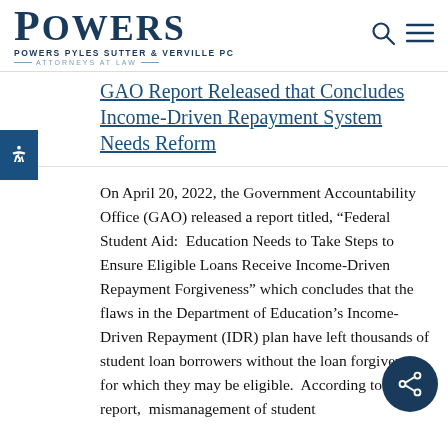POWERS PYLES SUTTER & VERVILLE PC — ATTORNEYS AT LAW
GAO Report Released that Concludes Income-Driven Repayment System Needs Reform
On April 20, 2022, the Government Accountability Office (GAO) released a report titled, “Federal Student Aid: Education Needs to Take Steps to Ensure Eligible Loans Receive Income-Driven Repayment Forgiveness” which concludes that the flaws in the Department of Education’s Income-Driven Repayment (IDR) plan have left thousands of student loan borrowers without the loan forgiveness for which they may be eligible. According to the report, mismanagement of student